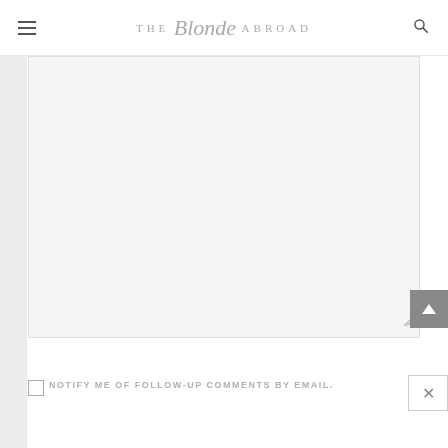THE Blonde ABROAD
[Figure (screenshot): Comment textarea box, light gray background, empty, with resize handle at bottom right]
NOTIFY ME OF FOLLOW-UP COMMENTS BY EMAIL.